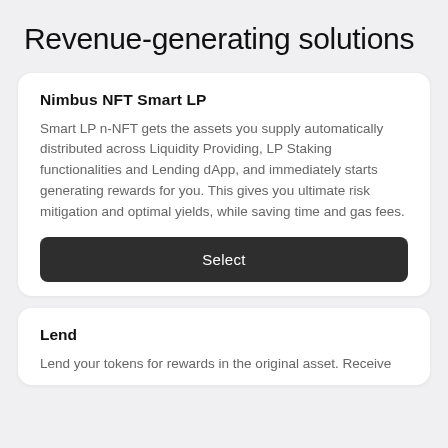Revenue-generating solutions
Nimbus NFT Smart LP
Smart LP n-NFT gets the assets you supply automatically distributed across Liquidity Providing, LP Staking functionalities and Lending dApp, and immediately starts generating rewards for you. This gives you ultimate risk mitigation and optimal yields, while saving time and gas fees.
Select
Lend
Lend your tokens for rewards in the original asset. Receive